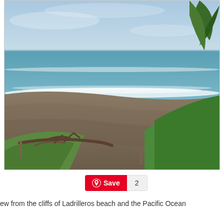[Figure (photo): Aerial view from the cliffs overlooking Ladrilleros beach with dark sand, ocean waves with white surf, blue-grey sky, tropical green vegetation and palm trees in the foreground right, and a fallen driftwood tree on the lower left.]
ew from the cliffs of Ladrilleros beach and the Pacific Ocean